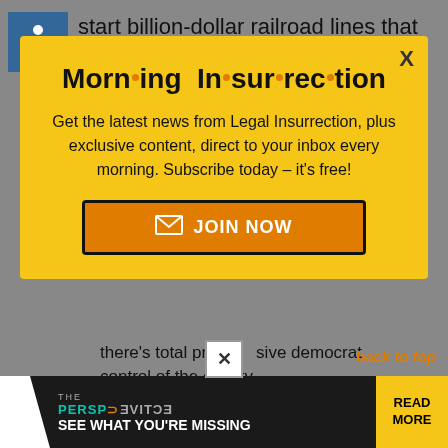start billion-dollar railroad lines that only benefit NoVA (and spend the money up front), etc...
[Figure (screenshot): Morning Insurrection newsletter subscription popup modal with yellow background. Title reads 'Morning Insurrection' with orange dots between syllables. Body text: 'Get the latest news from Legal Insurrection, plus exclusive content, direct to your inbox every morning. Subscribe today – it's free!' Orange 'JOIN NOW' button with envelope icon. X close button in top right.]
there's total progressive democrat control of the county...
[Figure (screenshot): Advertisement banner at bottom: dark background with white triangular shape on left, 'THE PERSPECTIVE' text, 'SEE WHAT YOU'RE MISSING' text, and yellow 'READ MORE' button on right.]